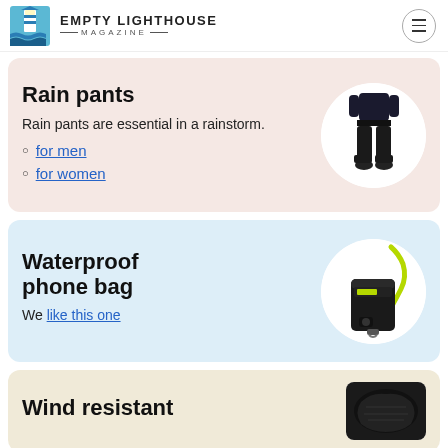EMPTY LIGHTHOUSE MAGAZINE
Rain pants
Rain pants are essential in a rainstorm.
for men
for women
[Figure (photo): Person wearing black rain pants]
Waterproof phone bag
We like this one
[Figure (photo): Black waterproof phone bag with yellow/green lanyard]
Wind resistant